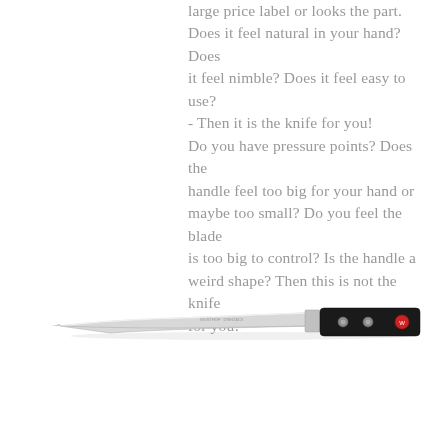large price label or looks the part. Does it feel natural in your hand? Does it feel nimble? Does it feel easy to use? - Then it is the knife for you! Do you have pressure points? Does the handle feel too big for your hand or maybe too small? Do you feel the blade is too big to control? Is the handle a weird shape? Then this is not the knife for you!
[Figure (photo): A chef's knife (Wusthof Classic) with a silver blade and black handle with three rivets and a red circular logo, photographed on a white background.]